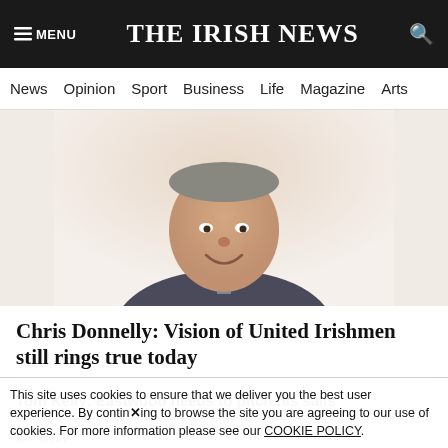THE IRISH NEWS
News  Opinion  Sport  Business  Life  Magazine  Arts
[Figure (photo): Headshot of a man in a suit, smiling, cropped from mid-chest upward, on a light background.]
Chris Donnelly: Vision of United Irishmen still rings true today
Tom Kelly: Eastwood needs to pitch his sails
SPORT
[Figure (photo): Partial sport-related image, dark background, cropped at bottom of page.]
This site uses cookies to ensure that we deliver you the best user experience. By continuing to browse the site you are agreeing to our use of cookies. For more information please see our COOKIE POLICY.